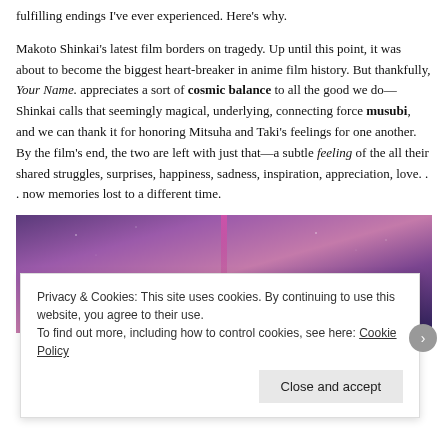fulfilling endings I've ever experienced. Here's why.
Makoto Shinkai's latest film borders on tragedy. Up until this point, it was about to become the biggest heart-breaker in anime film history. But thankfully, Your Name. appreciates a sort of cosmic balance to all the good we do—Shinkai calls that seemingly magical, underlying, connecting force musubi, and we can thank it for honoring Mitsuha and Taki's feelings for one another. By the film's end, the two are left with just that—a subtle feeling of the all their shared struggles, surprises, happiness, sadness, inspiration, appreciation, love. . . now memories lost to a different time.
[Figure (photo): A purple/pink twilight sky scene from the anime Your Name, with a silhouette of a character's head visible at the bottom center and a vertical beam of pink/magenta light in the center.]
Privacy & Cookies: This site uses cookies. By continuing to use this website, you agree to their use.
To find more, including how to control cookies, see here: Cookie Policy